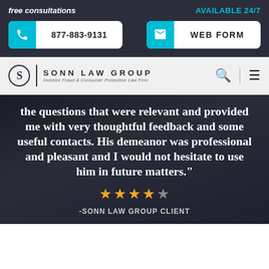free consultations
AVAILABLE 24/7
877-883-9131
WEB FORM
[Figure (logo): Sonn Law Group logo with stylized S in circle, vertical divider, and text SONN LAW GROUP with subtitle Investor Fraud & Consumer Protection Law Firm]
the questions that were relevant and provided me with very thoughtful feedback and some useful contacts. His demeanor was professional and pleasant and I would not hesitate to use him in future matters."
[Figure (other): Four gold star rating icons]
-SONN LAW GROUP CLIENT